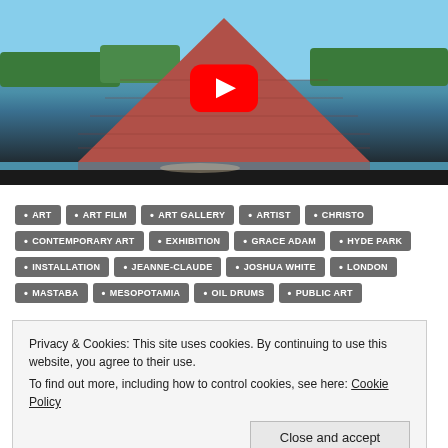[Figure (screenshot): YouTube video thumbnail showing a large pyramid-like sculpture (Mastaba) on a lake in Hyde Park, London, made of oil drums, with a YouTube play button overlay. Blue sky and trees in background.]
ART
ART FILM
ART GALLERY
ARTIST
CHRISTO
CONTEMPORARY ART
EXHIBITION
GRACE ADAM
HYDE PARK
INSTALLATION
JEANNE-CLAUDE
JOSHUA WHITE
LONDON
MASTABA
MESOPOTAMIA
OIL DRUMS
PUBLIC ART
Privacy & Cookies: This site uses cookies. By continuing to use this website, you agree to their use. To find out more, including how to control cookies, see here: Cookie Policy
Close and accept